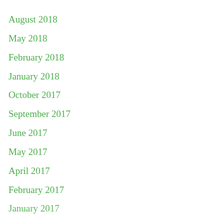August 2018
May 2018
February 2018
January 2018
October 2017
September 2017
June 2017
May 2017
April 2017
February 2017
January 2017